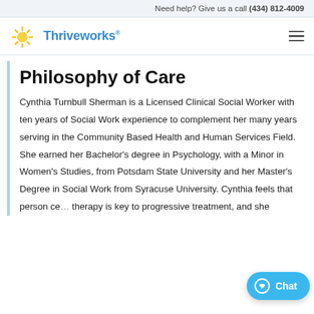Need help? Give us a call (434) 812-4009
[Figure (logo): Thriveworks logo with sun/ray icon and blue text]
Philosophy of Care
Cynthia Turnbull Sherman is a Licensed Clinical Social Worker with ten years of Social Work experience to complement her many years serving in the Community Based Health and Human Services Field. She earned her Bachelor’s degree in Psychology, with a Minor in Women’s Studies, from Potsdam State University and her Master’s Degree in Social Work from Syracuse University. Cynthia feels that person ce… therapy is key to progressive treatment, and she